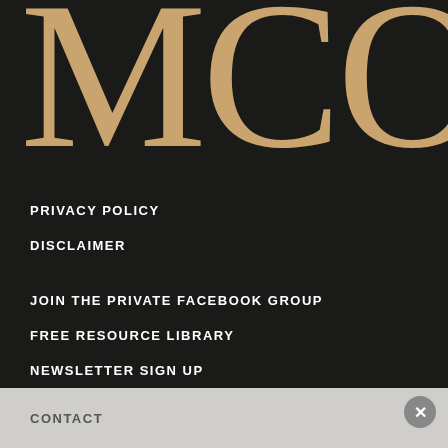[Figure (logo): Large decorative serif logo text 'MCO' in gold/tan color on dark background, partially cropped at top]
PRIVACY POLICY
DISCLAIMER
JOIN THE PRIVATE FACEBOOK GROUP
FREE RESOURCE LIBRARY
NEWSLETTER SIGN UP
ABOUT
CONTACT